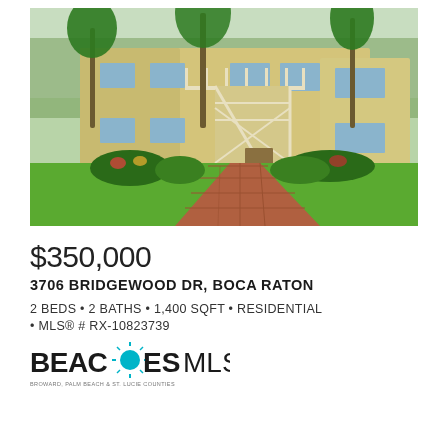[Figure (photo): Exterior photo of a two-story yellow/tan stucco condominium building with white railings, exterior staircase, tropical palm trees and manicured landscaping with a brick paver walkway and green lawn in the foreground.]
$350,000
3706 BRIDGEWOOD DR, BOCA RATON
2 BEDS • 2 BATHS • 1,400 SQFT • RESIDENTIAL
• MLS® # RX-10823739
[Figure (logo): BeachesMLS logo with sun icon replacing the letter A in BEACHES, followed by MLS in lighter weight. Tagline below reads: BROWARD, PALM BEACH & ST. LUCIE COUNTIES]